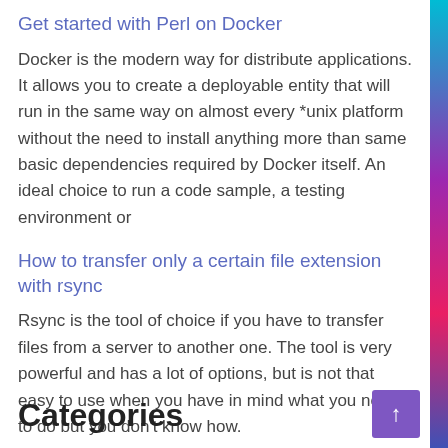Get started with Perl on Docker
Docker is the modern way for distribute applications. It allows you to create a deployable entity that will run in the same way on almost every *unix platform without the need to install anything more than same basic dependencies required by Docker itself. An ideal choice to run a code sample, a testing environment or
How to transfer only a certain file extension with rsync
Rsync is the tool of choice if you have to transfer files from a server to another one. The tool is very powerful and has a lot of options, but is not that easy to use when you have in mind what you need to do but you don't know how.
Categories